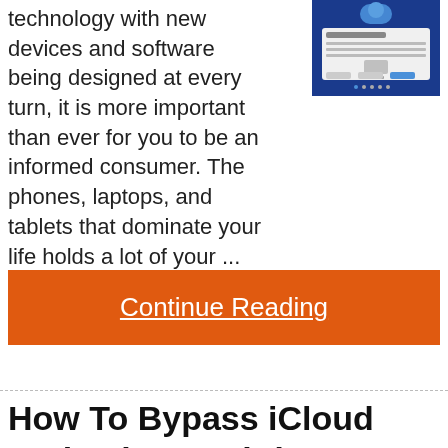technology with new devices and software being designed at every turn, it is more important than ever for you to be an informed consumer. The phones, laptops, and tablets that dominate your life holds a lot of your ...
[Figure (screenshot): Screenshot of an iCloud activation or sign-in screen on a blue background]
Continue Reading
How To Bypass iCloud Activation Lock (3 FREE